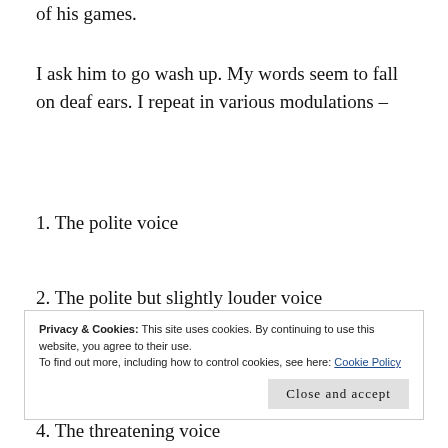of his games.
I ask him to go wash up. My words seem to fall on deaf ears. I repeat in various modulations –
1. The polite voice
2. The polite but slightly louder voice
Privacy & Cookies: This site uses cookies. By continuing to use this website, you agree to their use.
To find out more, including how to control cookies, see here: Cookie Policy
4. The threatening voice